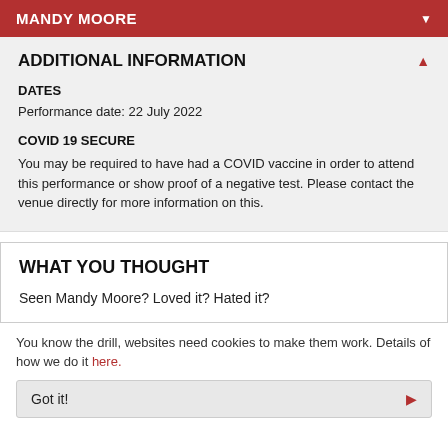MANDY MOORE
ADDITIONAL INFORMATION
DATES
Performance date: 22 July 2022
COVID 19 SECURE
You may be required to have had a COVID vaccine in order to attend this performance or show proof of a negative test. Please contact the venue directly for more information on this.
WHAT YOU THOUGHT
Seen Mandy Moore? Loved it? Hated it?
You know the drill, websites need cookies to make them work. Details of how we do it here.
Got it!